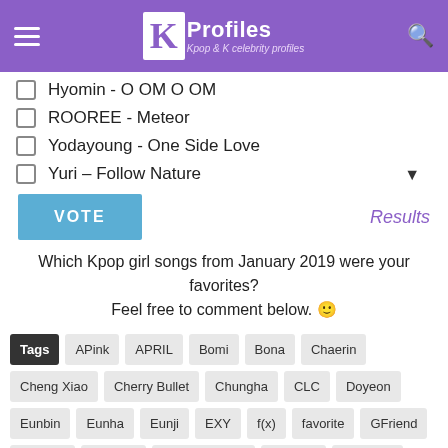K Profiles - Kpop & K celebrity profiles
Hyomin - O OM O OM
ROOREE - Meteor
Yodayoung - One Side Love
Yuri - Follow Nature
VOTE    Results
Which Kpop girl songs from January 2019 were your favorites? Feel free to comment below. 🙂
Tags  APink  APRIL  Bomi  Bona  Chaerin  Cheng Xiao  Cherry Bullet  Chungha  CLC  Doyeon  Eunbin  Eunha  Eunji  EXY  f(x)  favorite  GFriend  Greyish  Hayeon  Honglin Young  Hyomin  Hyunsoo